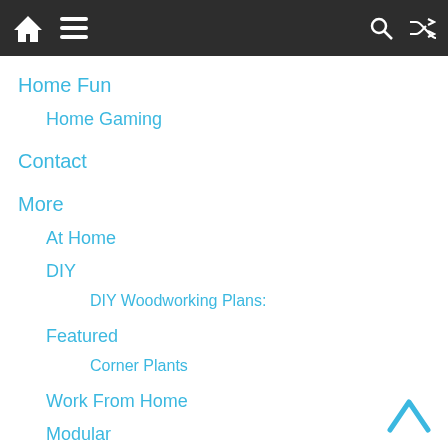Navigation bar with home, menu, search, and shuffle icons
Home Fun
Home Gaming
Contact
More
At Home
DIY
DIY Woodworking Plans:
Featured
Corner Plants
Work From Home
Modular
Pet Corner
Outdoors